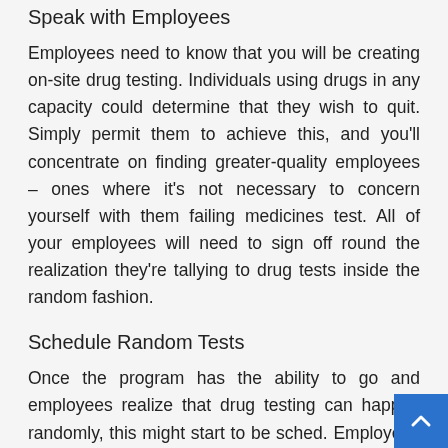Speak with Employees
Employees need to know that you will be creating on-site drug testing. Individuals using drugs in any capacity could determine that they wish to quit. Simply permit them to achieve this, and you’ll concentrate on finding greater-quality employees – ones where it’s not necessary to concern yourself with them failing medicines test. All of your employees will need to sign off round the realization they’re tallying to drug tests inside the random fashion.
Schedule Random Tests
Once the program has the ability to go and employees realize that drug testing can happen randomly, this might start to be sched. Employees won’t know when they will be referred to as to acquire tested. This is often actually the